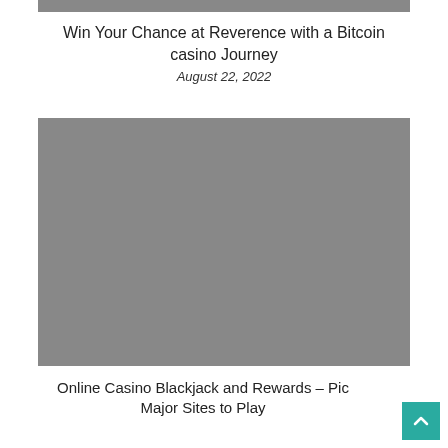[Figure (photo): Top gray image bar (partial image cropped at top)]
Win Your Chance at Reverence with a Bitcoin casino Journey
August 22, 2022
[Figure (photo): Large gray placeholder image block]
Online Casino Blackjack and Rewards – Pic Major Sites to Play